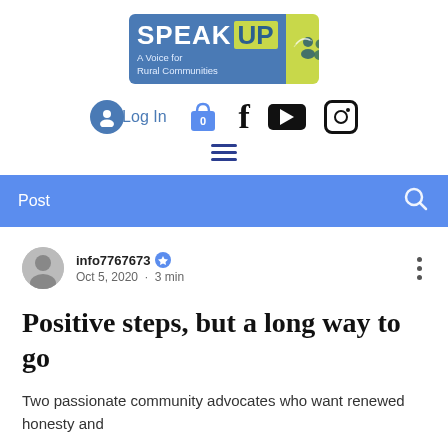[Figure (logo): Speak Up - A Voice for Rural Communities logo, blue and green banner with people silhouettes]
[Figure (infographic): Navigation icons: user/login, shopping bag (0), Facebook, YouTube, Instagram icons, and hamburger menu]
[Figure (screenshot): Blue navigation bar with 'Post' text on left and search icon on right]
info7767673 · Oct 5, 2020 · 3 min
Positive steps, but a long way to go
Two passionate community advocates who want renewed honesty and